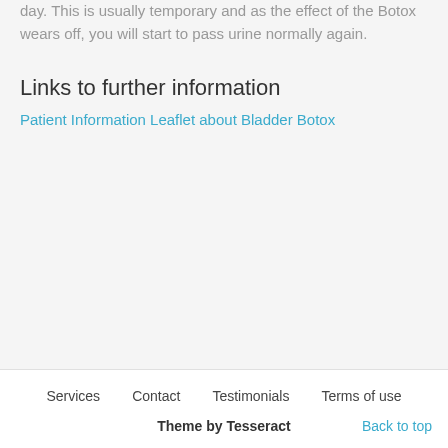day. This is usually temporary and as the effect of the Botox wears off, you will start to pass urine normally again.
Links to further information
Patient Information Leaflet about Bladder Botox
Services   Contact   Testimonials   Terms of use   Theme by Tesseract   Back to top